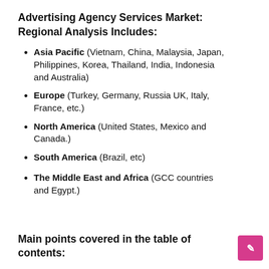Advertising Agency Services Market: Regional Analysis Includes:
Asia Pacific (Vietnam, China, Malaysia, Japan, Philippines, Korea, Thailand, India, Indonesia and Australia)
Europe (Turkey, Germany, Russia UK, Italy, France, etc.)
North America (United States, Mexico and Canada.)
South America (Brazil, etc)
The Middle East and Africa (GCC countries and Egypt.)
Main points covered in the table of contents: